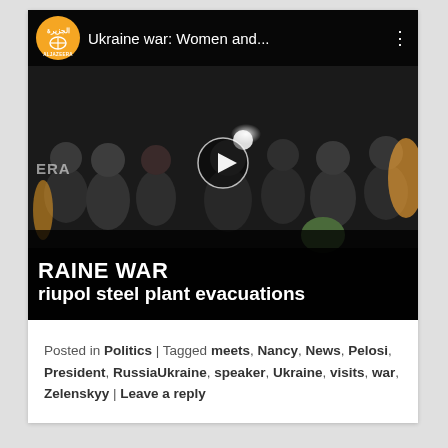[Figure (screenshot): Al Jazeera YouTube video thumbnail showing a group of people in a dark underground setting. Top bar shows Al Jazeera orange logo and text 'Ukraine war: Women and...' with three-dot menu. A play button triangle is centered. Bottom overlay text reads 'RAINE WAR' and 'riupol steel plant evacuations'. ERA watermark visible on left side.]
Posted in Politics | Tagged meets, Nancy, News, Pelosi, President, RussiaUkraine, speaker, Ukraine, visits, war, Zelenskyy | Leave a reply